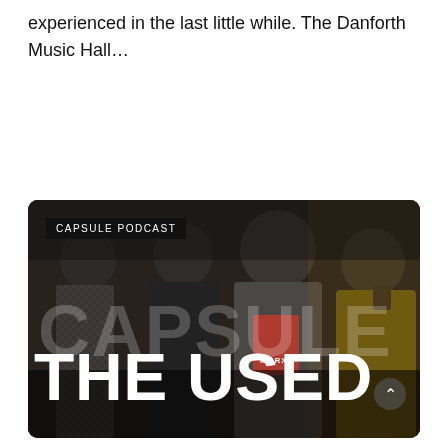experienced in the last little while. The Danforth Music Hall…
READ MORE
[Figure (photo): A band photo of four men standing together in a dark setting. Overlaid text reads 'CAPSULE PODCAST' in a black label at the top left, 'CAPSULE' in large semi-transparent letters in the middle, and 'THE USED' in large white bold letters at the bottom. A chevron-up arrow button appears at the bottom right.]